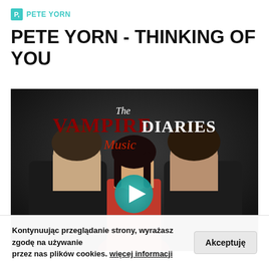P,  PETE YORN
PETE YORN - THINKING OF YOU
[Figure (screenshot): Thumbnail image for a YouTube video showing The Vampire Diaries Music promotional photo with three cast members and a teal play button overlay. Text on image reads 'The Vampire Diaries Music'.]
Kontynuując przeglądanie strony, wyrażasz zgodę na używanie przez nas plików cookies. więcej informacji   Akceptuję